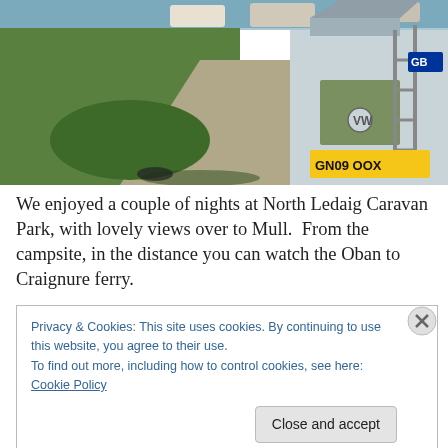[Figure (photo): Campervan with open roof at North Ledaig Caravan Park, showing gravel path, green grass, and water in background. License plate GN09 OOX visible on vehicle.]
We enjoyed a couple of nights at North Ledaig Caravan Park, with lovely views over to Mull.  From the campsite, in the distance you can watch the Oban to Craignure ferry.
Privacy & Cookies: This site uses cookies. By continuing to use this website, you agree to their use.
To find out more, including how to control cookies, see here: Cookie Policy
Close and accept